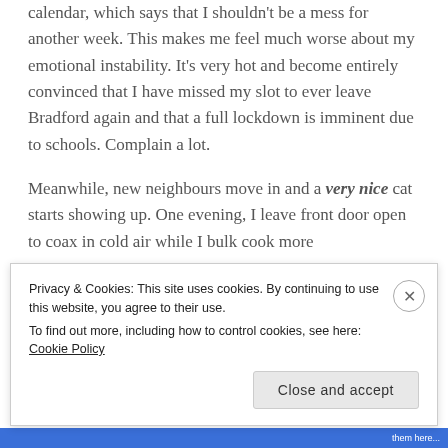blog post. Do sense check this against the hormonal calendar, which says that I shouldn't be a mess for another week. This makes me feel much worse about my emotional instability. It's very hot and become entirely convinced that I have missed my slot to ever leave Bradford again and that a full lockdown is imminent due to schools. Complain a lot.
Meanwhile, new neighbours move in and a very nice cat starts showing up. One evening, I leave front door open to coax in cold air while I bulk cook more Danshen...
Privacy & Cookies: This site uses cookies. By continuing to use this website, you agree to their use. To find out more, including how to control cookies, see here: Cookie Policy
Close and accept